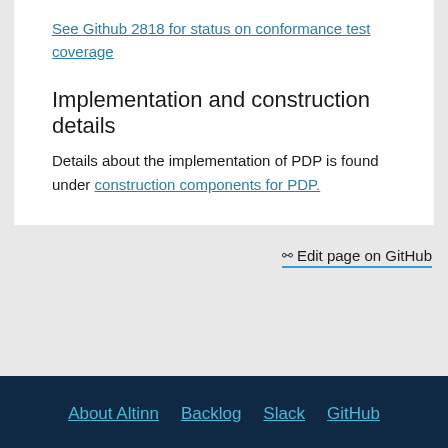See Github 2818 for status on conformance test coverage
Implementation and construction details
Details about the implementation of PDP is found under construction components for PDP.
Edit page on GitHub
About Altinn  Backlog  Slack  GitHub